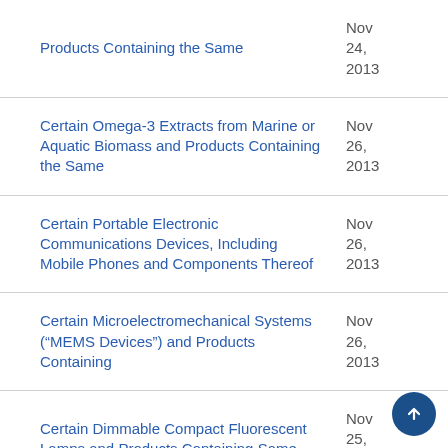| Case Name | Date |
| --- | --- |
| Products Containing the Same | Nov 24, 2013 |
| Certain Omega-3 Extracts from Marine or Aquatic Biomass and Products Containing the Same | Nov 26, 2013 |
| Certain Portable Electronic Communications Devices, Including Mobile Phones and Components Thereof | Nov 26, 2013 |
| Certain Microelectromechanical Systems (“MEMS Devices”) and Products Containing | Nov 26, 2013 |
| Certain Dimmable Compact Fluorescent Lamps and Products Containing Same | Nov 25, 2013 |